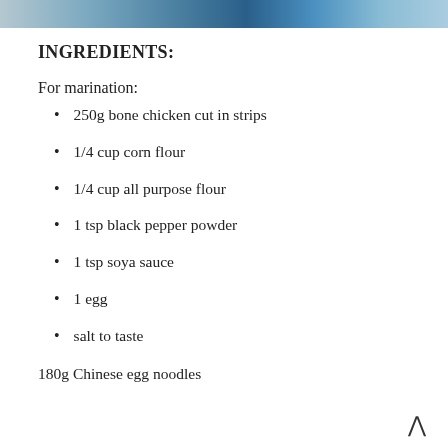[Figure (photo): Partial photo of a dish at the top of the page, showing blue and brown tones]
INGREDIENTS:
For marination:
250g bone chicken cut in strips
1/4 cup corn flour
1/4 cup all purpose flour
1 tsp black pepper powder
1 tsp soya sauce
1 egg
salt to taste
180g Chinese egg noodles